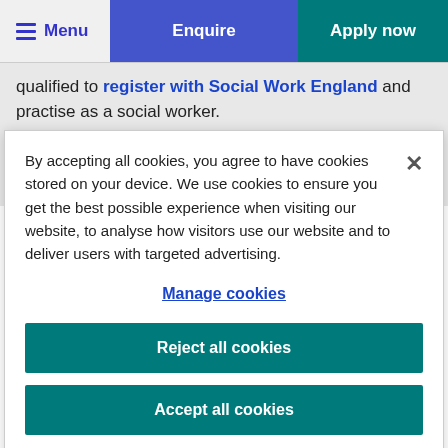Menu | Enquire | Apply now
qualified to register with Social Work England and practise as a social worker.
Our social work graduates have gone on to have rewarding
By accepting all cookies, you agree to have cookies stored on your device. We use cookies to ensure you get the best possible experience when visiting our website, to analyse how visitors use our website and to deliver users with targeted advertising.
Manage cookies
Reject all cookies
Accept all cookies